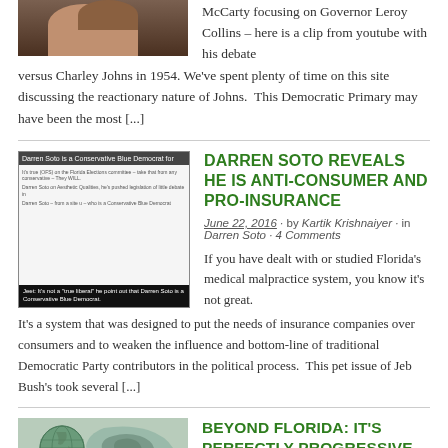[Figure (photo): Partial photo of a woman at top left, cropped]
McCarty focusing on Governor Leroy Collins – here is a clip from youtube with his debate versus Charley Johns in 1954. We've spent plenty of time on this site discussing the reactionary nature of Johns.  This Democratic Primary may have been the most [...]
[Figure (screenshot): Image of Darren Soto with text overlay, labeled as conservative on insurance]
DARREN SOTO REVEALS HE IS ANTI-CONSUMER AND PRO-INSURANCE
June 22, 2016 · by Kartik Krishnaiyer · in Darren Soto · 4 Comments
If you have dealt with or studied Florida's medical malpractice system, you know it's not great. It's a system that was designed to put the needs of insurance companies over consumers and to weaken the influence and bottom-line of traditional Democratic Party contributors in the political process.  This pet issue of Jeb Bush's took several [...]
[Figure (illustration): Globe/world map illustration]
BEYOND FLORIDA: IT'S PERFECTLY PROGRESSIVE TO SUPPORT BREXIT